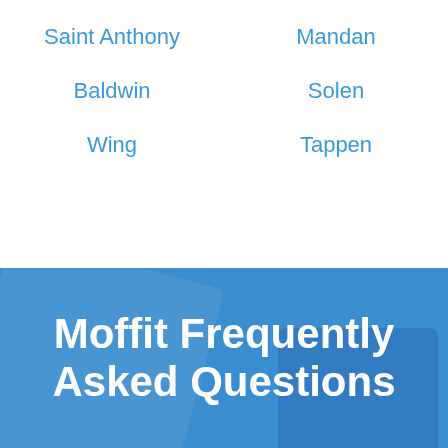Saint Anthony
Mandan
Baldwin
Solen
Wing
Tappen
Moffit Frequently Asked Questions